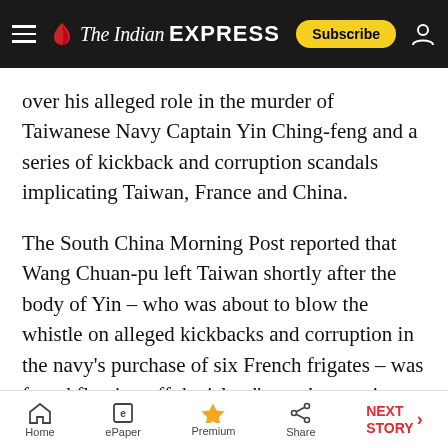The Indian EXPRESS — Subscribe
over his alleged role in the murder of Taiwanese Navy Captain Yin Ching-feng and a series of kickback and corruption scandals implicating Taiwan, France and China.
The South China Morning Post reported that Wang Chuan-pu left Taiwan shortly after the body of Yin – who was about to blow the whistle on alleged kickbacks and corruption in the navy's purchase of six French frigates – was found floating off the island's north coast in December 1993.
The HSBC documents show conversations
Home | ePaper | Premium | Share | NEXT STORY